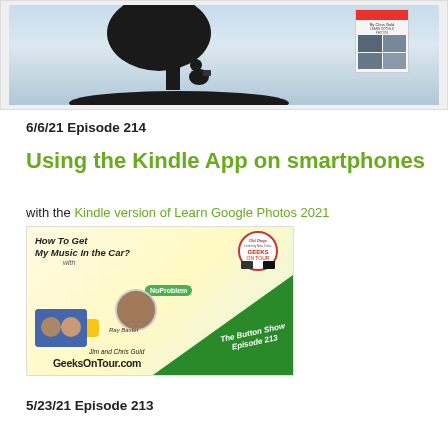[Figure (illustration): Top image block showing a silhouette of a person sitting under a tree reading, with a light blue sky background, and a book cover thumbnail on the right side.]
6/6/21 Episode 214
Using the Kindle App on smartphones
with the Kindle version of Learn Google Photos 2021
[Figure (photo): Thumbnail image for Episode 213: How To Get My Music In the Car? featuring Ray Baxter, Jim and Chris Guld, GeeksOnTour.com logo, The Button Show Episode 213, NoProblem speech bubble, What Does This Button Do? tag.]
5/23/21 Episode 213